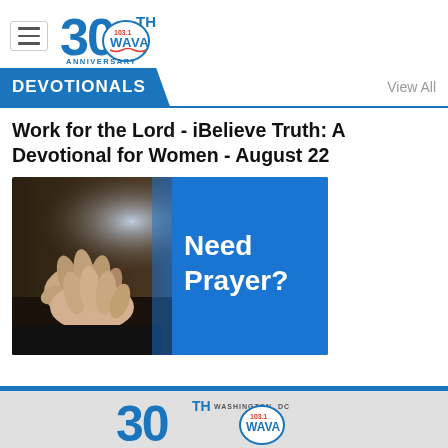WAVA 103.1 FM - 30th Anniversary Logo and hamburger menu
DEVOTIONALS   View All
Work for the Lord - iBelieve Truth: A Devotional for Women - August 22
[Figure (photo): Praying hands clasped together over a dark surface on the left side, blue background on the right with white bold text reading 'Need Prayer?']
WAVA 30th Anniversary logo footer - Washington DC